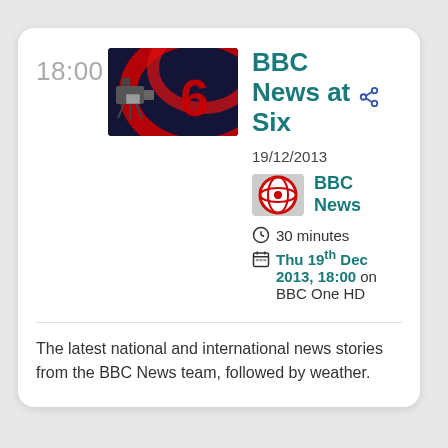18:00
[Figure (photo): BBC News at Six thumbnail showing studio cameras and the number 6 logo in red]
BBC News at Six
19/12/2013
[Figure (logo): BBC News channel logo - red and white globe]
BBC News
30 minutes
Thu 19th Dec 2013, 18:00 on BBC One HD
The latest national and international news stories from the BBC News team, followed by weather.